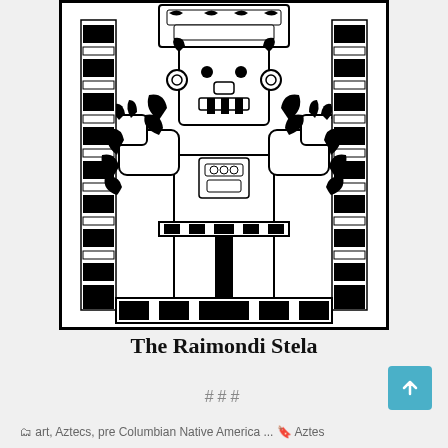[Figure (illustration): Black and white intricate engraving of the Raimondi Stela — a Chavin-style anthropomorphic deity figure with elaborate headdress, scrollwork, and geometric patterns arranged symmetrically]
The Raimondi Stela
###
art, Aztecs, pre Columbian Native America ... Aztes